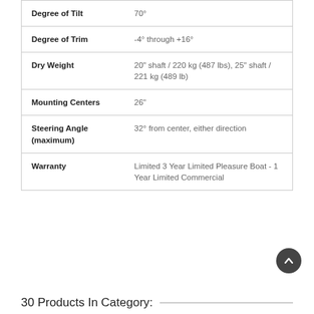| Specification | Value |
| --- | --- |
| Degree of Tilt | 70° |
| Degree of Trim | -4° through +16° |
| Dry Weight | 20" shaft / 220 kg (487 lbs), 25" shaft / 221 kg (489 lb) |
| Mounting Centers | 26" |
| Steering Angle (maximum) | 32° from center, either direction |
| Warranty | Limited 3 Year Limited Pleasure Boat - 1 Year Limited Commercial |
30 Products In Category: